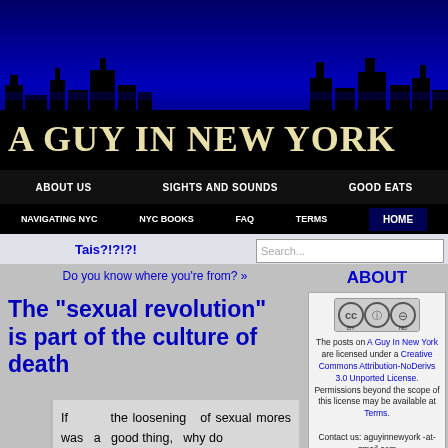[Figure (illustration): NYC skyline silhouette with blue background, site header banner]
A GUY IN NEW YORK
ABOUT US | SIGHTS AND SOUNDS | GOOD EATS
NAVIGATING NYC | NYC BOOKS | FAQ | TERMS | HOME
Tais?!?!?!
Do you know where you're from? »
The “sexual revolution” is part of the culture of death
If the loosening of sexual mores was a good thing, why do
ABOUT
The posts on A Guy In New York are licensed under a Creative Commons Attribution-NoDerivs 3.0 Unported License. Permissions beyond the scope of this license may be available at Terms.
Contact us: aguyinnewyork -at- gmail.com